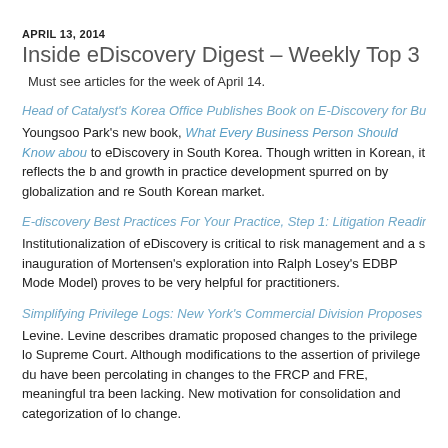APRIL 13, 2014
Inside eDiscovery Digest – Weekly Top 3
Must see articles for the week of April 14.
Head of Catalyst's Korea Office Publishes Book on E-Discovery for Busi...
Youngsoo Park's new book, What Every Business Person Should Know about... to eDiscovery in South Korea. Though written in Korean, it reflects the b... and growth in practice development spurred on by globalization and re... South Korean market.
E-discovery Best Practices For Your Practice, Step 1: Litigation Readiness...
Institutionalization of eDiscovery is critical to risk management and a s... inauguration of Mortensen's exploration into Ralph Losey's EDBP Mode... Model) proves to be very helpful for practitioners.
Simplifying Privilege Logs: New York's Commercial Division Proposes Cat...
Levine. Levine describes dramatic proposed changes to the privilege lo... Supreme Court. Although modifications to the assertion of privilege du... have been percolating in changes to the FRCP and FRE, meaningful tra... been lacking. New motivation for consolidation and categorization of lo... change.